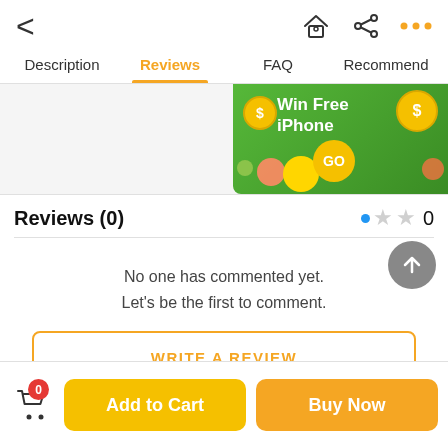[Figure (screenshot): Mobile app top navigation bar with back arrow, home icon, share icon, and more (three dots) icon]
Description   Reviews   FAQ   Recommend
[Figure (infographic): Advertisement banner: Win Free iPhone with GO button and coin/bubble graphics]
Reviews  (0)
No one has commented yet. Let's be the first to comment.
WRITE A REVIEW
Add to Cart
Buy Now